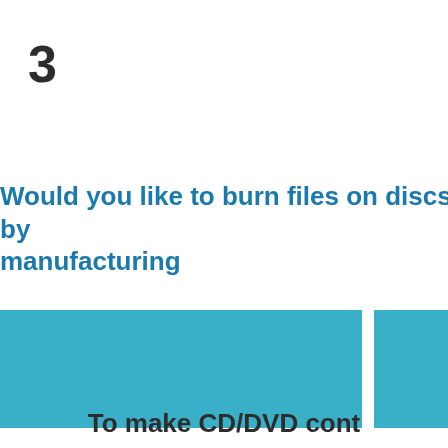3
Would you like to burn files on discs by manufacturing
[Figure (infographic): Two teal/blue rectangular blocks side by side — large block on the left and smaller block on the right, representing answer option areas (likely Yes/No or similar choice buttons)]
To make CD/DVD content